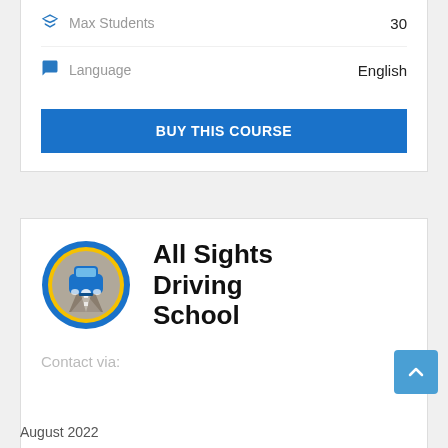Max Students   30
Language   English
BUY THIS COURSE
[Figure (logo): All Sights Driving School logo: circular badge with a blue car on a road with headlight beams, yellow accent ring, blue outer ring]
All Sights Driving School
Contact via:
August 2022